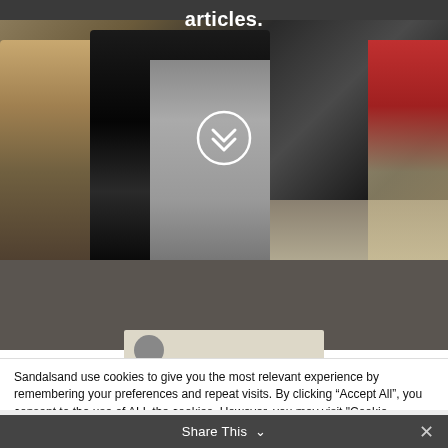articles.
[Figure (photo): Street scene photograph showing figures in dark robes and traditional dress walking on a street. A double-chevron scroll icon is overlaid on the center of the image.]
Sandalsand use cookies to give you the most relevant experience by remembering your preferences and repeat visits. By clicking “Accept All”, you consent to the use of ALL the cookies. However, you may visit "Cookie Settings" to provide a controlled consent. Read up on privacy
Cookie Settings
Accept All
Share This